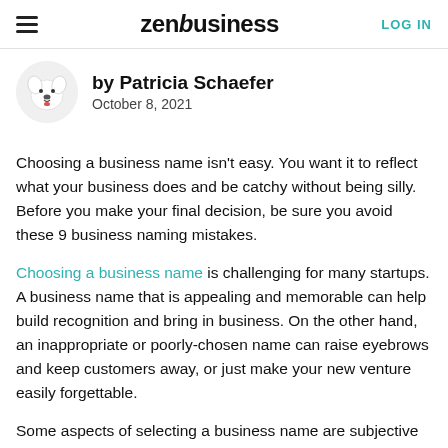zenbusiness   LOG IN
by Patricia Schaefer
October 8, 2021
Choosing a business name isn't easy. You want it to reflect what your business does and be catchy without being silly. Before you make your final decision, be sure you avoid these 9 business naming mistakes.
Choosing a business name is challenging for many startups. A business name that is appealing and memorable can help build recognition and bring in business. On the other hand, an inappropriate or poorly-chosen name can raise eyebrows and keep customers away, or just make your new venture easily forgettable.
Some aspects of selecting a business name are subjective and reflect the personal wishes, preferences, or even the owner's existing name recognition.
But it's not just a matter of business name...